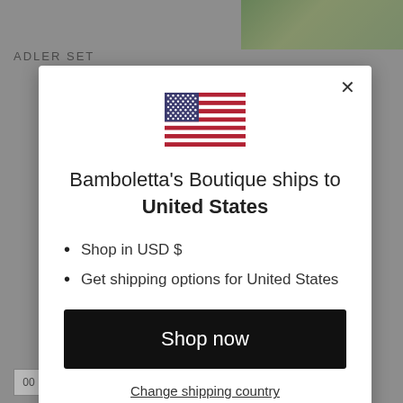[Figure (screenshot): Background page showing product listing with 'ADLER SET' text, a green/nature photo at top right, bottom navigation boxes with numbers 00, 0, 1, 2 on left and right sides, and a price of $24.95 on the right.]
[Figure (illustration): US flag icon (stars and stripes) centered above modal text]
Bamboletta's Boutique ships to United States
Shop in USD $
Get shipping options for United States
Shop now
Change shipping country